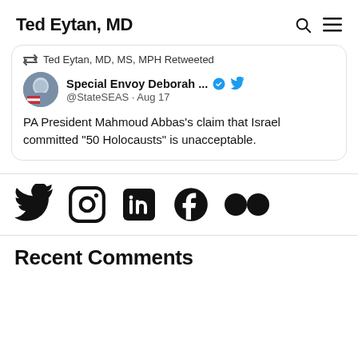Ted Eytan, MD
[Figure (screenshot): Embedded tweet card: Ted Eytan MD MS MPH Retweeted. Special Envoy Deborah... @StateSEAS · Aug 17. PA President Mahmoud Abbas's claim that Israel committed "50 Holocausts" is unacceptable.]
[Figure (infographic): Social media icons row: Twitter, Instagram, LinkedIn, Facebook, Flickr]
Recent Comments